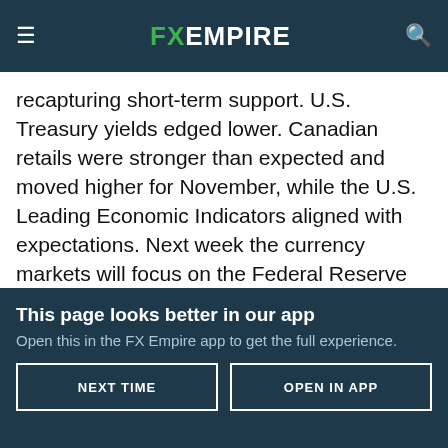FX EMPIRE
recapturing short-term support. U.S. Treasury yields edged lower. Canadian retails were stronger than expected and moved higher for November, while the U.S. Leading Economic Indicators aligned with expectations. Next week the currency markets will focus on the Federal Reserve meeting. The FOMC will likely continue to discuss inflation expectations.
Technical Analysis
The USD/CAD rebounded slightly on Friday. Support is seen...
This page looks better in our app
Open this in the FX Empire app to get the full experience.